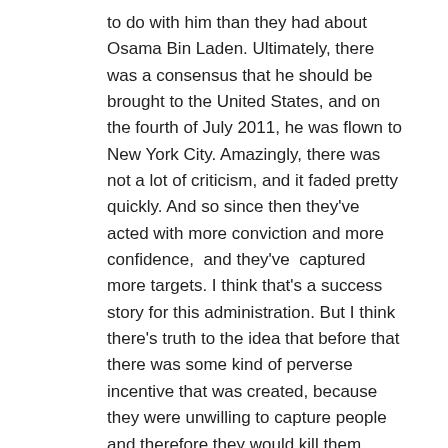to do with him than they had about Osama Bin Laden. Ultimately, there was a consensus that he should be brought to the United States, and on the fourth of July 2011, he was flown to New York City. Amazingly, there was not a lot of criticism, and it faded pretty quickly. And so since then they've acted with more conviction and more confidence,  and they've  captured more targets. I think that's a success story for this administration. But I think there's truth to the idea that before that there was some kind of perverse incentive that was created, because they were unwilling to capture people and therefore they would kill them.
Drone There's an argument that is used as a criticism of the technology of drones, the actual weapons platform, that it lowers the threshold for the kill decision.
Klaidman Yeah.